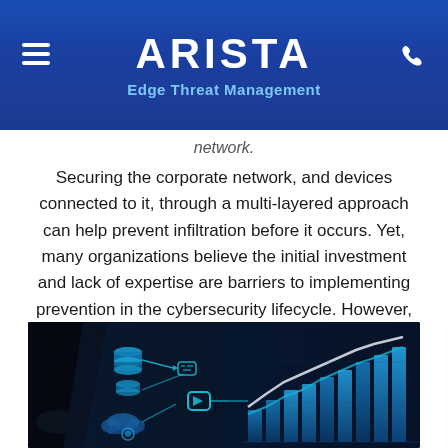ARISTA
Edge Threat Management
network.
Securing the corporate network, and devices connected to it, through a multi-layered approach can help prevent infiltration before it occurs. Yet, many organizations believe the initial investment and lack of expertise are barriers to implementing prevention in the cybersecurity lifecycle. However, there are measures every company can take to protect themselves.
[Figure (photo): Dark cybersecurity-themed photo showing a digital network flow diagram on the left with stacked cylinder icons and arrow connectors, and a glowing blue bar and line chart visualization on the right, representing cybersecurity data analytics.]